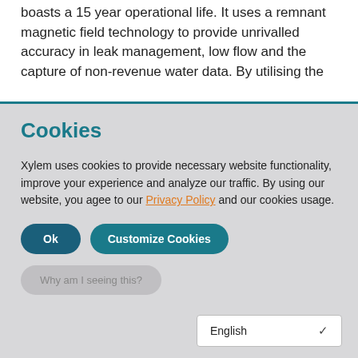boasts a 15 year operational life. It uses a remnant magnetic field technology to provide unrivalled accuracy in leak management, low flow and the capture of non-revenue water data. By utilising the
Cookies
Xylem uses cookies to provide necessary website functionality, improve your experience and analyze our traffic. By using our website, you agee to our Privacy Policy and our cookies usage.
Ok
Customize Cookies
Why am I seeing this?
English